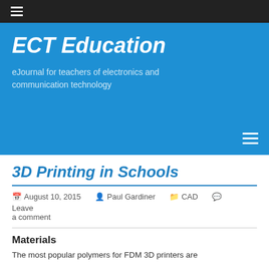ECT Education — eJournal for teachers of electronics and communication technology
3D Printing in Schools
August 10, 2015  Paul Gardiner  CAD  Leave a comment
Materials
The most popular polymers for FDM 3D printers are